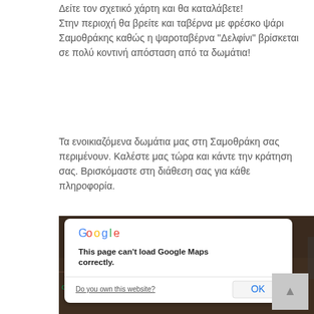Δείτε τον σχετικό χάρτη και θα καταλάβετε!
Στην περιοχή θα βρείτε και ταβέρνα με φρέσκο ψάρι Σαμοθράκης καθώς η ψαροταβέρνα "Δελφίνι" βρίσκεται σε πολύ κοντινή απόσταση από τα δωμάτια!
Τα ενοικιαζόμενα δωμάτια μας στη Σαμοθράκη σας περιμένουν. Καλέστε μας τώρα και κάντε την κράτηση σας. Βρισκόμαστε στη διάθεση σας για κάθε πληροφορία.
[Figure (screenshot): Google Maps error dialog overlaid on a dark satellite map. The dialog shows the Google logo, the message 'This page can't load Google Maps correctly.', a 'Do you own this website?' link, and an OK button. The map background shows 'For development purposes only' watermark text and a location pin near 'Sanctuary of the Great Gods'.]